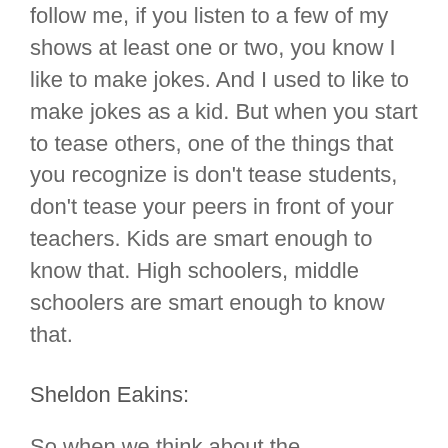follow me, if you listen to a few of my shows at least one or two, you know I like to make jokes. And I used to like to make jokes as a kid. But when you start to tease others, one of the things that you recognize is don't tease students, don't tease your peers in front of your teachers. Kids are smart enough to know that. High schoolers, middle schoolers are smart enough to know that.
Sheldon Eakins:
So when we think about the experiences that our students are having, so we're as adults, as educators, we're working hard to be culturally responsive and we're providing, we're doing this equity work at our level, which is great. And I'm not taking anything away from that. I just don't want us